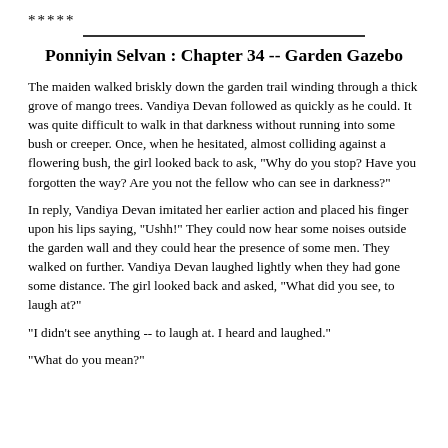*****
Ponniyin Selvan : Chapter 34 -- Garden Gazebo
The maiden walked briskly down the garden trail winding through a thick grove of mango trees. Vandiya Devan followed as quickly as he could. It was quite difficult to walk in that darkness without running into some bush or creeper. Once, when he hesitated, almost colliding against a flowering bush, the girl looked back to ask, "Why do you stop? Have you forgotten the way? Are you not the fellow who can see in darkness?"
In reply, Vandiya Devan imitated her earlier action and placed his finger upon his lips saying, "Ushh!" They could now hear some noises outside the garden wall and they could hear the presence of some men. They walked on further. Vandiya Devan laughed lightly when they had gone some distance. The girl looked back and asked, "What did you see, to laugh at?"
"I didn't see anything -- to laugh at. I heard and laughed."
"What do you mean?"